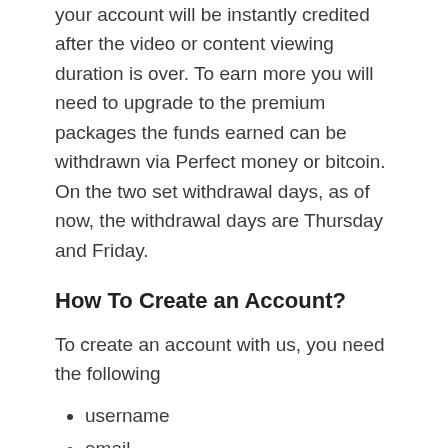your account will be instantly credited after the video or content viewing duration is over. To earn more you will need to upgrade to the premium packages the funds earned can be withdrawn via Perfect money or bitcoin. On the two set withdrawal days, as of now, the withdrawal days are Thursday and Friday.
How To Create an Account?
To create an account with us, you need the following
username
email
a password
pin
You can also register an account using your